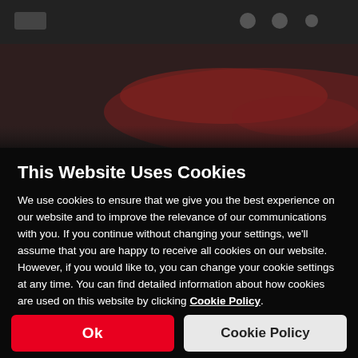[Figure (screenshot): Blurred background screenshot of a website showing a dark navigation bar with icons at the top and a blurred red vehicle/machinery image beneath it.]
This Website Uses Cookies
We use cookies to ensure that we give you the best experience on our website and to improve the relevance of our communications with you. If you continue without changing your settings, we'll assume that you are happy to receive all cookies on our website. However, if you would like to, you can change your cookie settings at any time. You can find detailed information about how cookies are used on this website by clicking Cookie Policy.